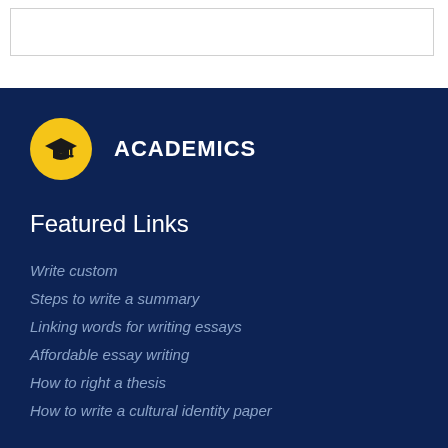[Figure (other): White header area with a bordered rectangle input/search box]
ACADEMICS
Featured Links
Write custom
Steps to write a summary
Linking words for writing essays
Affordable essay writing
How to right a thesis
How to write a cultural identity paper